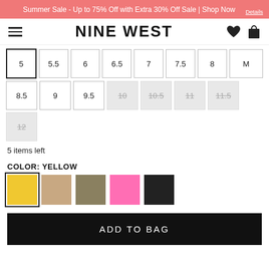Summer Sale - Up to 75% Off with Extra 30% Off Sale | Shop Now
[Figure (logo): Nine West logo with hamburger menu icon, heart icon and bag icon]
| 5 | 5.5 | 6 | 6.5 | 7 | 7.5 | 8 | M |
| 8.5 | 9 | 9.5 | 10 (unavailable) | 10.5 (unavailable) | 11 (unavailable) | 11.5 (unavailable) |
| 12 (unavailable) |
5 items left
COLOR: YELLOW
[Figure (illustration): Color swatches: yellow (selected), tan/nude, olive/taupe, pink, black]
ADD TO BAG